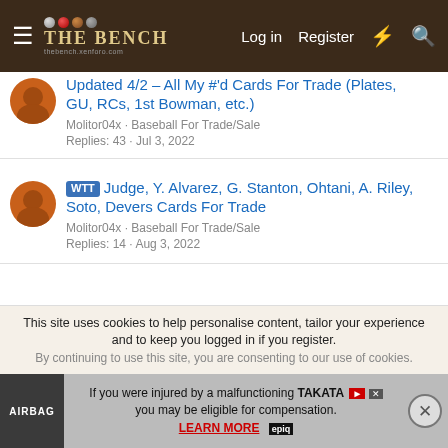THE BENCH — Log in | Register
Updated 4/2 – All My #'d Cards For Trade (Plates, GU, RCs, 1st Bowman, etc.) — Molitor04x · Baseball For Trade/Sale — Replies: 43 · Jul 3, 2022
WTT Judge, Y. Alvarez, G. Stanton, Ohtani, A. Riley, Soto, Devers Cards For Trade — Molitor04x · Baseball For Trade/Sale — Replies: 14 · Aug 3, 2022
WTT My $8.00+ Cards F/T (sorted by last name - Autos, GU, Relic, RCs, 1st Bowman, #'d, etc) — Molitor04x · Baseball For Trade/Sale — Replies: 1 · Mar 16, 2022
This site uses cookies to help personalise content, tailor your experience and to keep you logged in if you register. By continuing to use this site, you are consenting to our use of cookies.
[Figure (screenshot): Advertisement banner: Airbag injury lawsuit ad for TAKATA airbag malfunction with 'LEARN MORE' link and epiq logo, with close button]